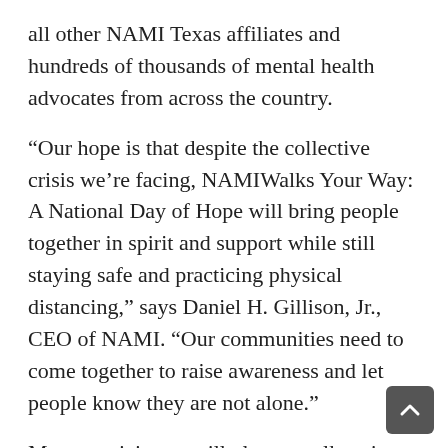all other NAMI Texas affiliates and hundreds of thousands of mental health advocates from across the country.
“Our hope is that despite the collective crisis we’re facing, NAMIWalks Your Way: A National Day of Hope will bring people together in spirit and support while still staying safe and practicing physical distancing,” says Daniel H. Gillison, Jr., CEO of NAMI. “Our communities need to come together to raise awareness and let people know they are not alone.”
Many participants still plan to walk, using their treadmill, going outside in the backyard, or at a local park — all while taking precautions to stay safe. Others plan to hula-hoop, host a Kick-A-Thon, practice yoga, or do another activity they enjoy.